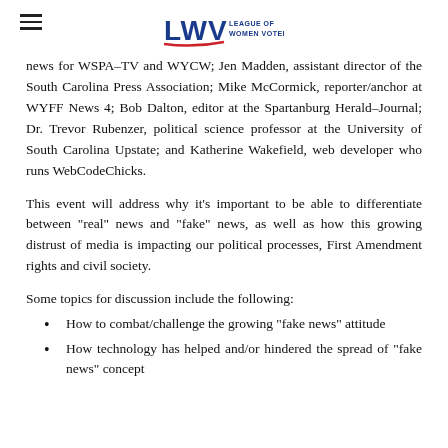LWV League of Women Voters
news for WSPA-TV and WYCW; Jen Madden, assistant director of the South Carolina Press Association; Mike McCormick, reporter/anchor at WYFF News 4; Bob Dalton, editor at the Spartanburg Herald-Journal; Dr. Trevor Rubenzer, political science professor at the University of South Carolina Upstate; and Katherine Wakefield, web developer who runs WebCodeChicks.
This event will address why it’s important to be able to differentiate between “real” news and “fake” news, as well as how this growing distrust of media is impacting our political processes, First Amendment rights and civil society.
Some topics for discussion include the following:
How to combat/challenge the growing “fake news” attitude
How technology has helped and/or hindered the spread of “fake news” concept